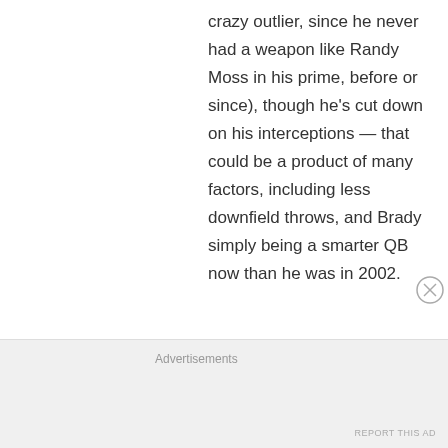crazy outlier, since he never had a weapon like Randy Moss in his prime, before or since), though he's cut down on his interceptions — that could be a product of many factors, including less downfield throws, and Brady simply being a smarter QB now than he was in 2002.
Advertisements